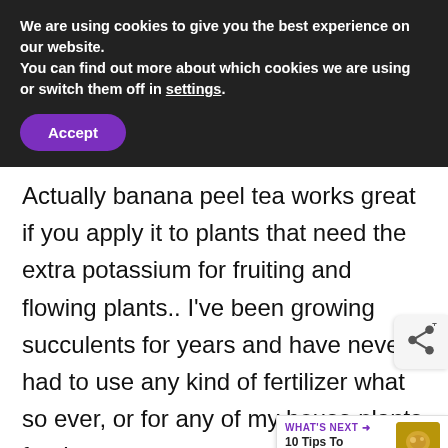We are using cookies to give you the best experience on our website.
You can find out more about which cookies we are using or switch them off in settings.
Accept
Actually banana peel tea works great if you apply it to plants that need the extra potassium for fruiting and flowing plants.. I've been growing succulents for years and have never had to use any kind of fertilizer what so ever, or for any of my house plants for that m... probably why you had issues. Tomatoes and
[Figure (screenshot): WHAT'S NEXT arrow label with thumbnail image and text '10 Tips To Stay Safe...']
[Figure (screenshot): SHE CAN STEM advertisement banner with 'Learn More' button, STEM grid logo, and Ad Council logo]